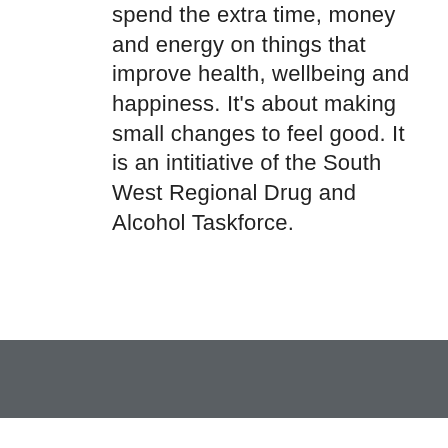spend the extra time, money and energy on things that improve health, wellbeing and happiness. It's about making small changes to feel good. It is an intitiative of the South West Regional Drug and Alcohol Taskforce.
Block A, Maudlins Hall, Naas, Dublin road, Naas, Kildare, Ireland | 045 875111